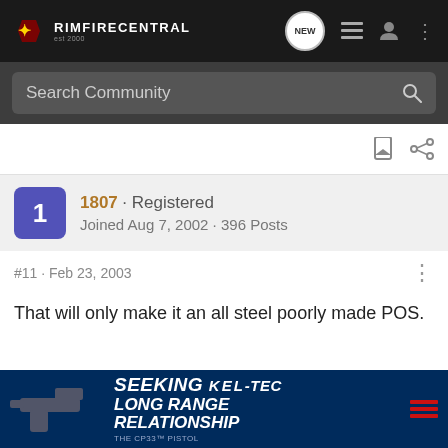RIMFIRECENTRAL
Search Community
1807 · Registered
Joined Aug 7, 2002 · 396 Posts
#11 · Feb 23, 2003
That will only make it an all steel poorly made POS.
[Figure (photo): Advertisement banner: Kel-Tec CP33 pistol with text SEEKING LONG RANGE RELATIONSHIP THE CP33 PISTOL]